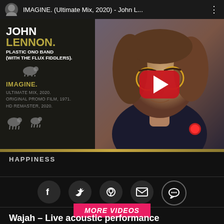[Figure (screenshot): YouTube video thumbnail for IMAGINE (Ultimate Mix, 2020) by John Lennon, Plastic Ono Band (with The Flux Fiddlers). Left panel shows album art with artist name and track info on dark background. Right panel shows photo of John Lennon with glasses and a YouTube play button overlay.]
HAPPINESS
[Figure (infographic): Row of five social sharing icon buttons: Facebook (f), Twitter (bird), Pinterest (P), Email (envelope), Chat (speech bubble with dots). Dark circular backgrounds.]
MORE VIDEOS
Wajah – Live acoustic performance